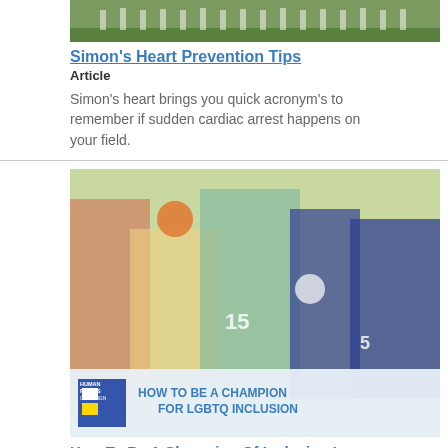[Figure (photo): Soccer players on a field, team lined up]
Simon's Heart Prevention Tips
Article
Simon's heart brings you quick acronym's to remember if sudden cardiac arrest happens on your field.
[Figure (photo): Multiple athletes in various sports overlaid, with Human Rights Campaign banner: HOW TO BE A CHAMPION FOR LGBTQ INCLUSION]
How To Be A Champion Of Inclusion In Athletics
Article
Inclusive athletic environments are instrumental to success both on and off the field.
[Figure (photo): Classroom or office interior with person visible]